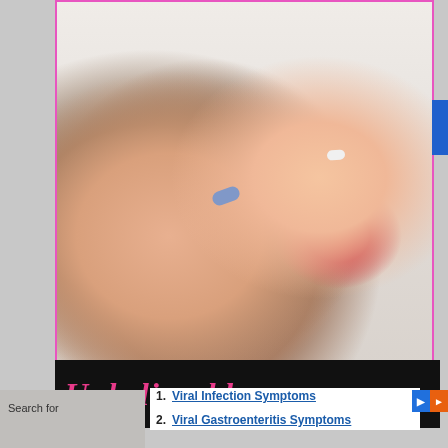[Figure (photo): Close-up photo of a woman with red lips about to take a blue pill held between fingers, with text watermark BLACKDIAMONDBUZZ.COM in lower left corner]
Unbelievable success
Search for
1. Viral Infection Symptoms
2. Viral Gastroenteritis Symptoms